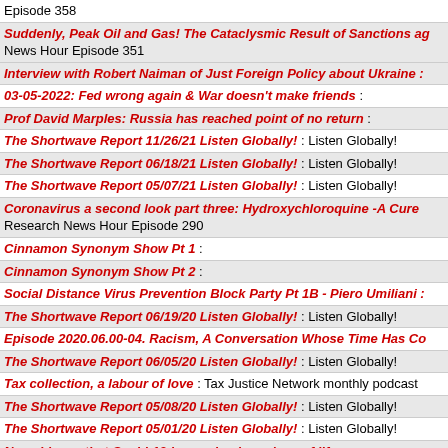Episode 358
Suddenly, Peak Oil and Gas! The Cataclysmic Result of Sanctions ag… News Hour Episode 351
Interview with Robert Naiman of Just Foreign Policy about Ukraine :
03-05-2022: Fed wrong again & War doesn't make friends :
Prof David Marples: Russia has reached point of no return :
The Shortwave Report 11/26/21 Listen Globally! : Listen Globally!
The Shortwave Report 06/18/21 Listen Globally! : Listen Globally!
The Shortwave Report 05/07/21 Listen Globally! : Listen Globally!
Coronavirus a second look part three: Hydroxychloroquine -A Cure … Research News Hour Episode 290
Cinnamon Synonym Show Pt 1 :
Cinnamon Synonym Show Pt 2 :
Social Distance Virus Prevention Block Party Pt 1B - Piero Umiliani :
The Shortwave Report 06/19/20 Listen Globally! : Listen Globally!
Episode 2020.06.00-04. Racism, A Conversation Whose Time Has Co…
The Shortwave Report 06/05/20 Listen Globally! : Listen Globally!
Tax collection, a labour of love : Tax Justice Network monthly podcast
The Shortwave Report 05/08/20 Listen Globally! : Listen Globally!
The Shortwave Report 05/01/20 Listen Globally! : Listen Globally!
No evidence that Covid-19 is causing huge loss of life :
The Shortwave Report 04/17/20 Listen Globally! : Listen Globally!
Episode 2020.01.1&2. Irrationally Reprehensible Ambush of a Nation…
The Shortwave Report 12/20/19 Listen Globally! : Listen Globally!
The British Election of 2019 and a Tribute to Noel Ignatiev :